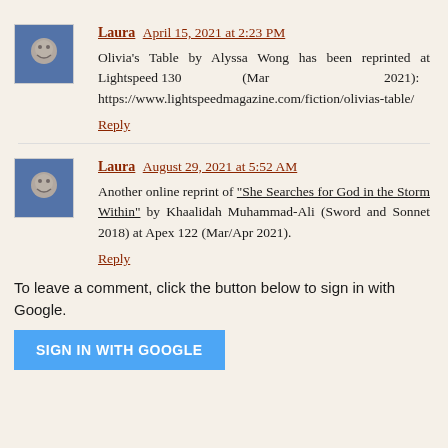Laura  April 15, 2021 at 2:23 PM
Olivia's Table by Alyssa Wong has been reprinted at Lightspeed 130 (Mar 2021): https://www.lightspeedmagazine.com/fiction/olivias-table/
Reply
Laura  August 29, 2021 at 5:52 AM
Another online reprint of "She Searches for God in the Storm Within" by Khaalidah Muhammad-Ali (Sword and Sonnet 2018) at Apex 122 (Mar/Apr 2021).
Reply
To leave a comment, click the button below to sign in with Google.
SIGN IN WITH GOOGLE